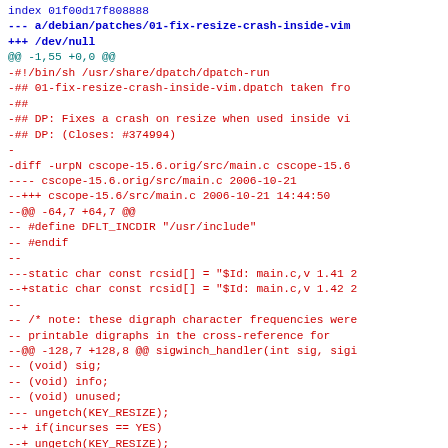index 01f00d17f808888
--- a/debian/patches/01-fix-resize-crash-inside-vim
+++ /dev/null
@@ -1,55 +0,0 @@
-#!/bin/sh /usr/share/dpatch/dpatch-run
-## 01-fix-resize-crash-inside-vim.dpatch taken fro
-##
-## DP: Fixes a crash on resize when used inside vi
-## DP: (Closes: #374994)
-
-diff -urpN cscope-15.6.orig/src/main.c cscope-15.6
---- cscope-15.6.orig/src/main.c          2006-10-21
--+++ cscope-15.6/src/main.c     2006-10-21 14:44:50
--@@ -64,7 +64,7 @@
-- #define DFLT_INCDIR "/usr/include"
-- #endif
--
---static char const rcsid[] = "$Id: main.c,v 1.41 2
--+static char const rcsid[] = "$Id: main.c,v 1.42 2
--
-- /* note: these digraph character frequencies were
--     printable digraphs in the cross-reference for
--@@ -128,7 +128,8 @@ sigwinch_handler(int sig, sigi
--     (void) sig;
--     (void) info;
--     (void) unused;
---     ungetch(KEY_RESIZE);
--+     if(incurses == YES)
--+         ungetch(KEY_RESIZE);
-- }
-  #endif